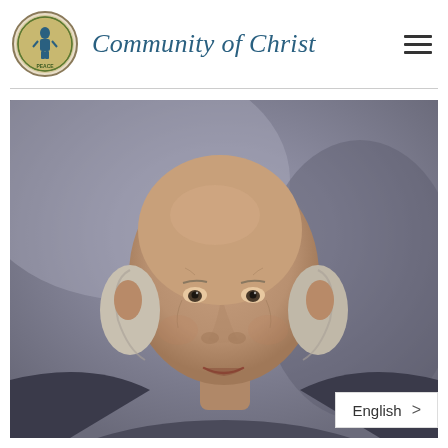Community of Christ
[Figure (photo): Portrait photo of an older bald man with white hair on the sides, smiling slightly, against a grey/mauve blurred background. Professional headshot style.]
English >